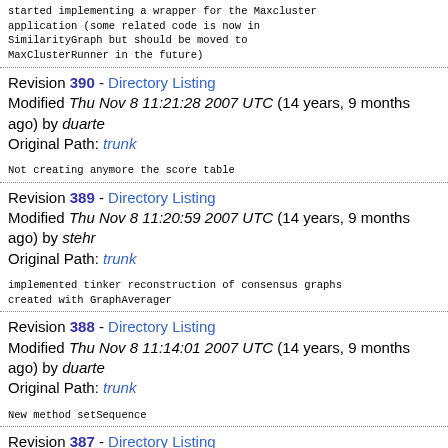started implementing a wrapper for the Maxcluster application (some related code is now in SimilarityGraph but should be moved to MaxClusterRunner in the future)
Revision 390 - Directory Listing
Modified Thu Nov 8 11:21:28 2007 UTC (14 years, 9 months ago) by duarte
Original Path: trunk
Not creating anymore the score table
Revision 389 - Directory Listing
Modified Thu Nov 8 11:20:59 2007 UTC (14 years, 9 months ago) by stehr
Original Path: trunk
implemented tinker reconstruction of consensus graphs created with GraphAverager
Revision 388 - Directory Listing
Modified Thu Nov 8 11:14:01 2007 UTC (14 years, 9 months ago) by duarte
Original Path: trunk
New method setSequence
Revision 387 - Directory Listing